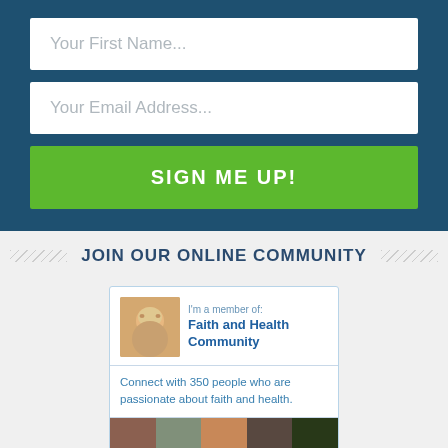[Figure (screenshot): Web sign-up form with fields for first name, email address, and a green Sign Me Up button on a dark blue background]
JOIN OUR ONLINE COMMUNITY
[Figure (screenshot): Community membership card for Faith and Health Community showing a member photo, description 'Connect with 350 people who are passionate about faith and health.', and a row of member profile photos at the bottom]